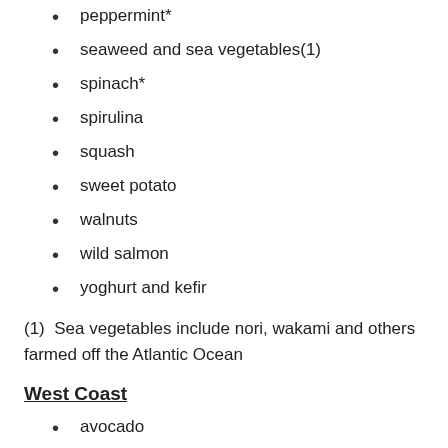peppermint*
seaweed and sea vegetables(1)
spinach*
spirulina
squash
sweet potato
walnuts
wild salmon
yoghurt and kefir
(1)  Sea vegetables include nori, wakami and others farmed off the Atlantic Ocean
West Coast
avocado
garlic*
ginger